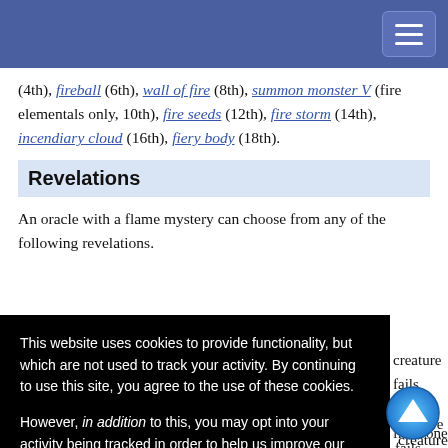(4th), fireball (6th), wall of fire (8th), summon monster V (fire elementals only, 10th), fire seeds (12th), fire storm (14th), incendiary cloud (16th), fiery body (18th).
Revelations
An oracle with a flame mystery can choose from any of the following revelations.
creature fails mage from one This fire deals evel at the re's turn. The an be the creature the spell's vater as a standard action grants a +/ bonus on this save
This website uses cookies to provide functionality, but which are not used to track your activity. By continuing to use this site, you agree to the use of these cookies.

However, in addition to this, you may opt into your activity being tracked in order to help us improve our service.

For more information, please click here